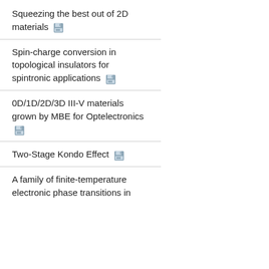Squeezing the best out of 2D materials
Spin-charge conversion in topological insulators for spintronic applications
0D/1D/2D/3D III-V materials grown by MBE for Optelectronics
Two-Stage Kondo Effect
A family of finite-temperature electronic phase transitions in